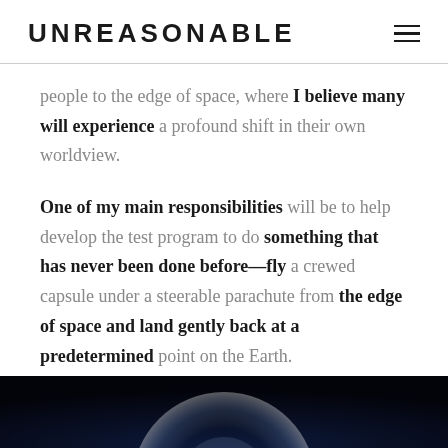UNREASONABLE
people to the edge of space, where I believe many will experience a profound shift in their own worldview.
One of my main responsibilities will be to help develop the test program to do something that has never been done before—fly a crewed capsule under a steerable parachute from the edge of space and land gently back at a predetermined point on the Earth.
[Figure (photo): Dark image showing a glowing spherical object (globe or capsule) with light emanating from it against a black background, partially visible at the bottom of the page.]